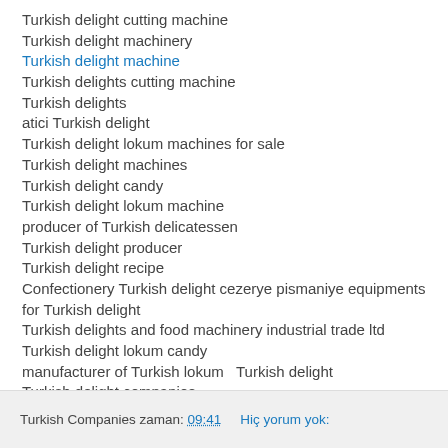Turkish delight cutting machine
Turkish delight machinery
Turkish delight machine
Turkish delights cutting machine
Turkish delights
atici Turkish delight
Turkish delight lokum machines for sale
Turkish delight machines
Turkish delight candy
Turkish delight lokum machine
producer of Turkish delicatessen
Turkish delight producer
Turkish delight recipe
Confectionery Turkish delight cezerye pismaniye equipments for Turkish delight
Turkish delights and food machinery industrial trade ltd
Turkish delight lokum candy
manufacturer of Turkish lokum  Turkish delight
Turkish delight companies
Turkish Companies zaman: 09:41    Hiç yorum yok: